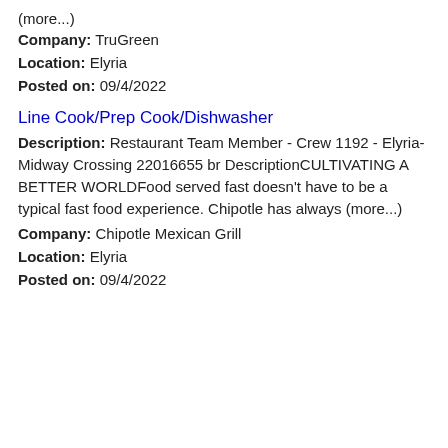(more...)
Company: TruGreen
Location: Elyria
Posted on: 09/4/2022
Line Cook/Prep Cook/Dishwasher
Description: Restaurant Team Member - Crew 1192 - Elyria-Midway Crossing 22016655 br DescriptionCULTIVATING A BETTER WORLDFood served fast doesn't have to be a typical fast food experience. Chipotle has always (more...)
Company: Chipotle Mexican Grill
Location: Elyria
Posted on: 09/4/2022
Loading more jobs...
Log In or Create An Account
This website uses cookies to ensure you get the best experience on our website.
Learn more
Got it!
Username:
Password: